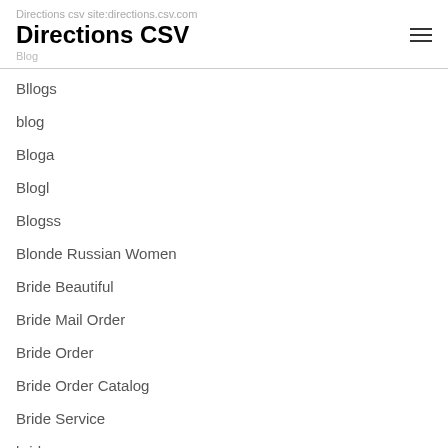Directions CSV
Bllogs
blog
Bloga
Blogl
Blogss
Blonde Russian Women
Bride Beautiful
Bride Mail Order
Bride Order
Bride Order Catalog
Bride Service
brides